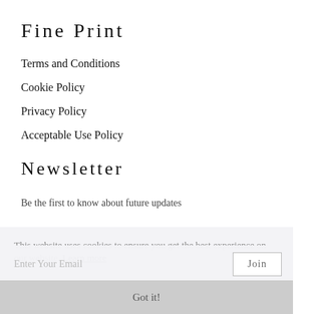Fine Print
Terms and Conditions
Cookie Policy
Privacy Policy
Acceptable Use Policy
Newsletter
Be the first to know about future updates
This website uses cookies to ensure you get the best experience on our website. Learn more
Enter Your Email
Join
Got it!